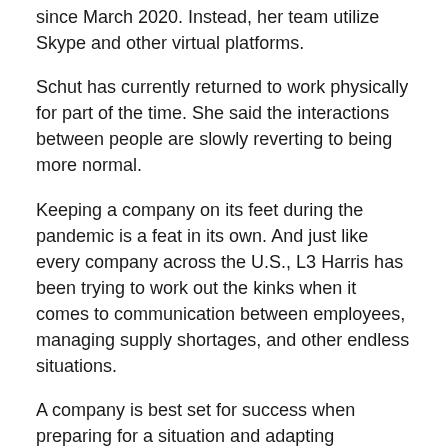since March 2020. Instead, her team utilize Skype and other virtual platforms.
Schut has currently returned to work physically for part of the time. She said the interactions between people are slowly reverting to being more normal.
Keeping a company on its feet during the pandemic is a feat in its own. And just like every company across the U.S., L3 Harris has been trying to work out the kinks when it comes to communication between employees, managing supply shortages, and other endless situations.
A company is best set for success when preparing for a situation and adapting accordingly. As Strohm put it, “What we did is we prepared for the worst.”
December 1, 2021